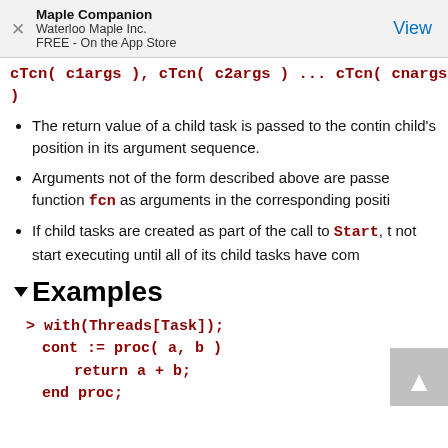Maple Companion
Waterloo Maple Inc.
FREE - On the App Store
cTcn( c1args ), cTcn( c2args ) ... cTcn( cnargs )
The return value of a child task is passed to the continuation function at the child's position in its argument sequence.
Arguments not of the form described above are passed directly to the function fcn as arguments in the corresponding position.
If child tasks are created as part of the call to Start, the continuation function will not start executing until all of its child tasks have completed.
Examples
> with(Threads[Task]);
    cont := proc( a, b )
        return a + b;
    end proc;
(truncated bottom code)